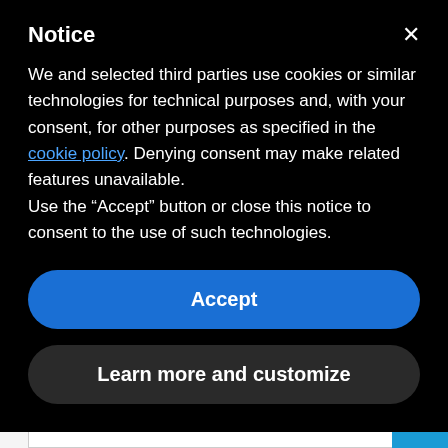Notice
We and selected third parties use cookies or similar technologies for technical purposes and, with your consent, for other purposes as specified in the cookie policy. Denying consent may make related features unavailable.
Use the “Accept” button or close this notice to consent to the use of such technologies.
Accept
Learn more and customize
Signage a Good Idea?
Benefits of Digital Signage